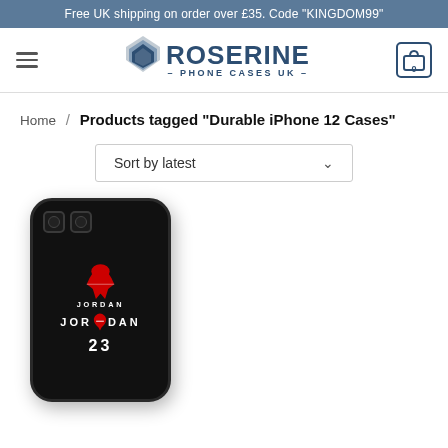Free UK shipping on order over £35. Code "KINGDOM99"
[Figure (logo): Roserine Phone Cases UK logo with geometric diamond icon and brand name]
Home / Products tagged “Durable iPhone 12 Cases”
Sort by latest
[Figure (photo): Black iPhone 12 phone case with Jordan 23 design, showing Jumpman logo and JORDAN 23 text in white and red]